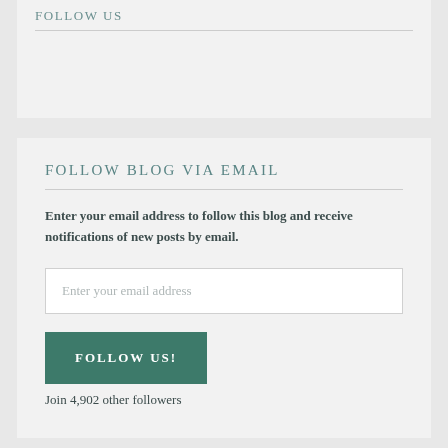FOLLOW US
FOLLOW BLOG VIA EMAIL
Enter your email address to follow this blog and receive notifications of new posts by email.
Enter your email address
FOLLOW US!
Join 4,902 other followers